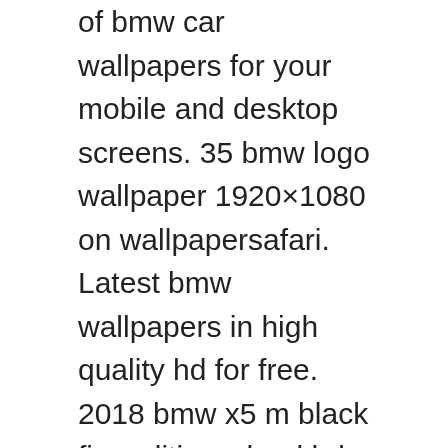of bmw car wallpapers for your mobile and desktop screens. 35 bmw logo wallpaper 1920×1080 on wallpapersafari. Latest bmw wallpapers in high quality hd for free. 2018 bmw x5 m black fire edition wheel hd . Download and discover more similar hd wallpaper on wallpapertip. Bmw car high resolution wallpapers,pictures.download free new bmw sports,bmw concept,bmw coupe desktop wallpapers,images in normal,widescreen & hdtv . Bmw e30 car wallpaper for free download in different resolution hd widescreen 4k 5k 8k ultra . Bmw black wallpapers free by zedge. Bmw cars wallpapers 1080p, 2k, 4k, 5k hd wallpapers free download, these wallpapers are free download for pc, laptop, iphone, android phone and ipad . Cool features, hd bmw car wallpaper backgrounds. Download hd wallpapers for free on unsplash.